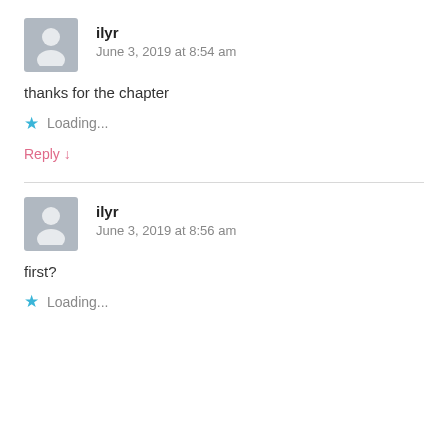ilyr
June 3, 2019 at 8:54 am
thanks for the chapter
Loading...
Reply ↓
ilyr
June 3, 2019 at 8:56 am
first?
Loading...